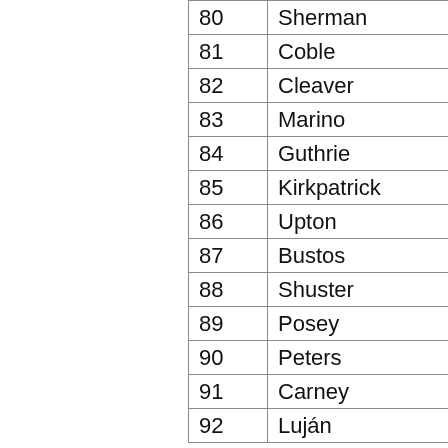| # | Name |
| --- | --- |
| 80 | Sherman |
| 81 | Coble |
| 82 | Cleaver |
| 83 | Marino |
| 84 | Guthrie |
| 85 | Kirkpatrick |
| 86 | Upton |
| 87 | Bustos |
| 88 | Shuster |
| 89 | Posey |
| 90 | Peters |
| 91 | Carney |
| 92 | Luján |